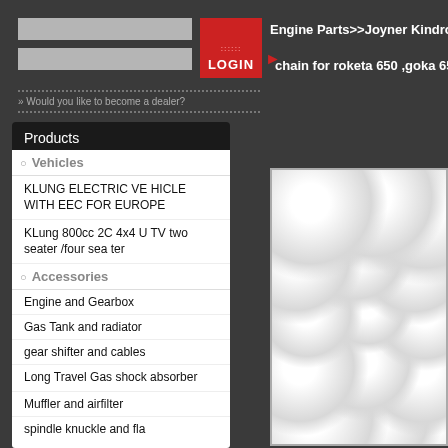[Figure (screenshot): Two grey input fields for username/password login]
[Figure (other): Red LOGIN button with dotted icon pattern]
» Would you like to become a dealer?
Products
Vehicles
KLUNG ELECTRIC VEHICLE WITH EEC FOR EUROPE
KLung 800cc 2C 4x4 UTV two seater /four seater
Accessories
Engine and Gearbox
Gas Tank and radiator
gear shifter and cables
Long Travel Gas shock absorber
Muffler and airfilter
spindle knuckle and fla
Engine Parts>>Joyner Kindroad 6
chain for roketa 650 ,goka 650 ,kir
[Figure (photo): Product photo showing bubble wrap packaging material, white/grey translucent bubbles]